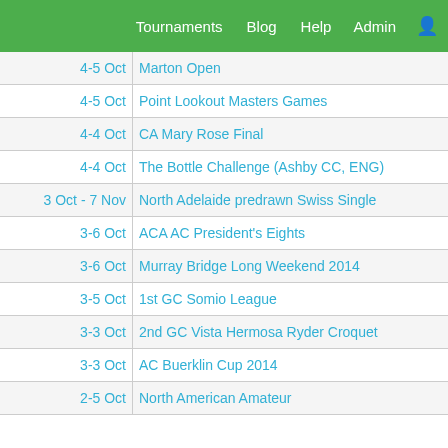Tournaments  Blog  Help  Admin
| Date | Tournament |
| --- | --- |
| 4-5 Oct | Marton Open |
| 4-5 Oct | Point Lookout Masters Games |
| 4-4 Oct | CA Mary Rose Final |
| 4-4 Oct | The Bottle Challenge (Ashby CC, ENG) |
| 3 Oct - 7 Nov | North Adelaide predrawn Swiss Single |
| 3-6 Oct | ACA AC President's Eights |
| 3-6 Oct | Murray Bridge Long Weekend 2014 |
| 3-5 Oct | 1st GC Somio League |
| 3-3 Oct | 2nd GC Vista Hermosa Ryder Croquet |
| 3-3 Oct | AC Buerklin Cup 2014 |
| 2-5 Oct | North American Amateur |